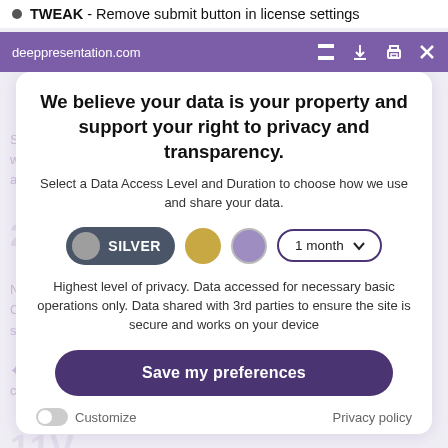TWEAK - Remove submit button in license settings
deeppresentation.com
We believe your data is your property and support your right to privacy and transparency.
Select a Data Access Level and Duration to choose how we use and share your data.
[Figure (screenshot): Privacy consent dialog with SILVER toggle selected, gold and purple circle options, and 1 month dropdown]
Highest level of privacy. Data accessed for necessary basic operations only. Data shared with 3rd parties to ensure the site is secure and works on your device
Save my preferences
Customize
Privacy policy